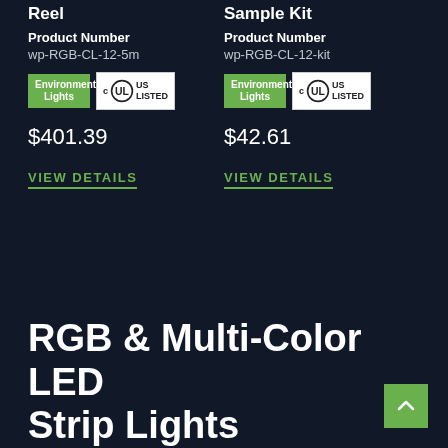Reel
Product Number
wp-RGB-CL-12-5m
[Figure (logo): Environmental Lights green badge and cUL US LISTED certification logo]
$401.39
VIEW DETAILS
Sample Kit
Product Number
wp-RGB-CL-12-kit
[Figure (logo): Environmental Lights green badge and cUL US LISTED certification logo]
$42.61
VIEW DETAILS
RGB & Multi-Color LED Strip Lights